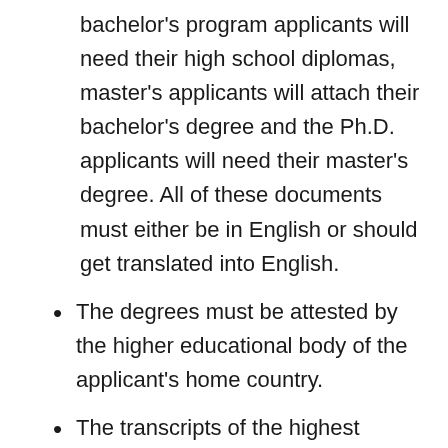bachelor's program applicants will need their high school diplomas, master's applicants will attach their bachelor's degree and the Ph.D. applicants will need their master's degree. All of these documents must either be in English or should get translated into English.
The degrees must be attested by the higher educational body of the applicant's home country.
The transcripts of the highest degree/diploma must also be attached in their attested form. They should also